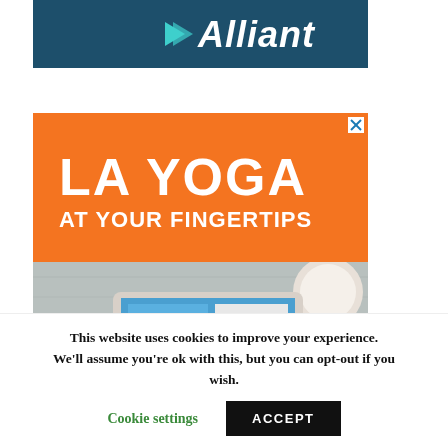[Figure (logo): Alliant brand advertisement with teal/dark background and white italic Alliant logo with cyan triangle icon]
[Figure (advertisement): LA Yoga at Your Fingertips advertisement with orange background, large white bold text, and bottom half showing a desk scene with tablet and coffee cup]
This website uses cookies to improve your experience. We'll assume you're ok with this, but you can opt-out if you wish.
Cookie settings
ACCEPT